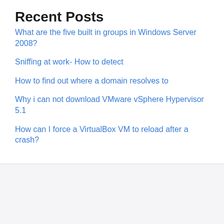Recent Posts
What are the five built in groups in Windows Server 2008?
Sniffing at work- How to detect
How to find out where a domain resolves to
Why i can not download VMware vSphere Hypervisor 5.1
How can I force a VirtualBox VM to reload after a crash?